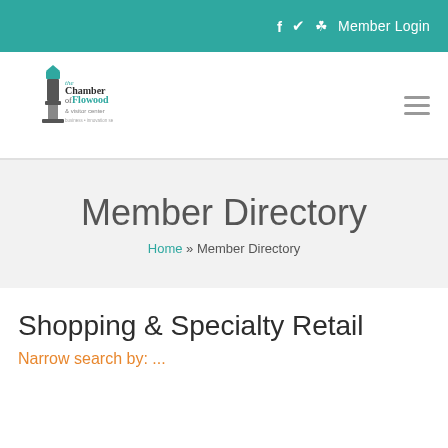f  🐦  📷  Member Login
[Figure (logo): The Chamber of Flowood & visitor center logo with lighthouse/tower illustration]
Member Directory
Home » Member Directory
Shopping & Specialty Retail
Narrow search by: ...